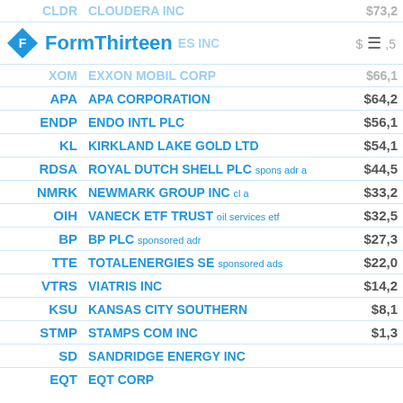| Ticker | Company | Value |
| --- | --- | --- |
| CLDR | CLOUDERA INC | $73,2 |
| [logo] | FormThirteen / [IES INC] | $—,5 |
| XOM | EXXON MOBIL CORP | $66,1 |
| APA | APA CORPORATION | $64,2 |
| ENDP | ENDO INTL PLC | $56,1 |
| KL | KIRKLAND LAKE GOLD LTD | $54,1 |
| RDSA | ROYAL DUTCH SHELL PLC spons adr a | $44,5 |
| NMRK | NEWMARK GROUP INC cl a | $33,2 |
| OIH | VANECK ETF TRUST oil services etf | $32,5 |
| BP | BP PLC sponsored adr | $27,3 |
| TTE | TOTALENERGIES SE sponsored ads | $22,0 |
| VTRS | VIATRIS INC | $14,2 |
| KSU | KANSAS CITY SOUTHERN | $8,1 |
| STMP | STAMPS COM INC | $1,3 |
| SD | SANDRIDGE ENERGY INC |  |
| EQT | EQT CORP |  |